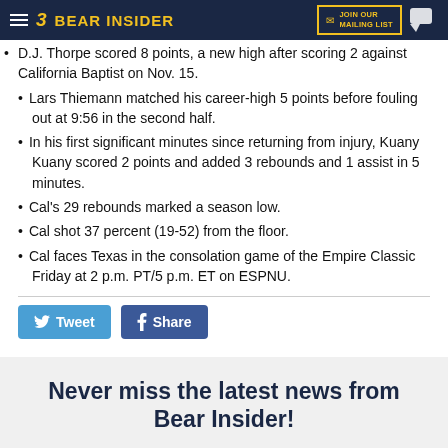Bear Insider — JOIN OUR MAILING LIST
D.J. Thorpe scored 8 points, a new high after scoring 2 against California Baptist on Nov. 15.
Lars Thiemann matched his career-high 5 points before fouling out at 9:56 in the second half.
In his first significant minutes since returning from injury, Kuany Kuany scored 2 points and added 3 rebounds and 1 assist in 5 minutes.
Cal's 29 rebounds marked a season low.
Cal shot 37 percent (19-52) from the floor.
Cal faces Texas in the consolation game of the Empire Classic Friday at 2 p.m. PT/5 p.m. ET on ESPNU.
Tweet  Share
Never miss the latest news from Bear Insider!